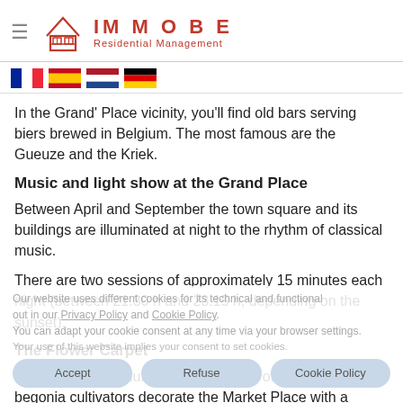IMMOBE Residential Management
[Figure (logo): IMMOBE Residential Management logo with house icon and flag icons for France, Spain, Netherlands, Germany]
In the Grand' Place vicinity, you'll find old bars serving biers brewed in Belgium. The most famous are the Gueuze and the Kriek.
Music and light show at the Grand Place
Between April and September the town square and its buildings are illuminated at night to the rhythm of classical music.
There are two sessions of approximately 15 minutes each night (between 21.30 h and 23.15 h, depending on the sunset).
The Flower Carpet
Every two years, during the third week of August, Belgian begonia cultivators decorate the Market Place with a beautiful flower carpet.